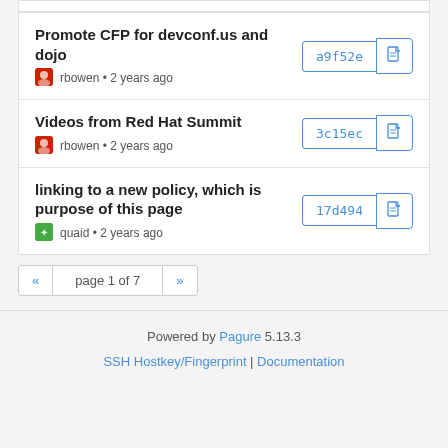Promote CFP for devconf.us and dojo — rbowen • 2 years ago — a9f52e
Videos from Red Hat Summit — rbowen • 2 years ago — 3c15ec
linking to a new policy, which is purpose of this page — quaid • 2 years ago — 17d494
« page 1 of 7 »
Powered by Pagure 5.13.3 | SSH Hostkey/Fingerprint | Documentation